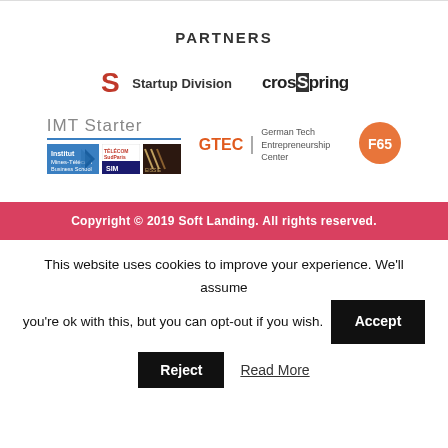PARTNERS
[Figure (logo): Startup Division logo — red S icon with 'Startup Division' text]
[Figure (logo): Crossspring logo — bold lowercase 'crosspring' with stylized S]
[Figure (logo): IMT Starter logo with three sub-logos: Institut Mines-Telecom Business School, Telecom SudParis/SIM, EISSIE]
[Figure (logo): GTEC - German Tech Entrepreneurship Center logo]
[Figure (logo): F65 orange badge logo]
Copyright © 2019 Soft Landing. All rights reserved.
This website uses cookies to improve your experience. We'll assume you're ok with this, but you can opt-out if you wish.
Accept
Reject
Read More